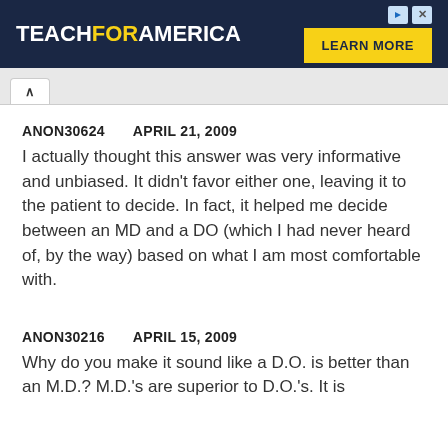[Figure (other): Teach For America advertisement banner with yellow 'LEARN MORE' button on dark navy background]
ANON30624   APRIL 21, 2009
I actually thought this answer was very informative and unbiased. It didn't favor either one, leaving it to the patient to decide. In fact, it helped me decide between an MD and a DO (which I had never heard of, by the way) based on what I am most comfortable with.
ANON30216   APRIL 15, 2009
Why do you make it sound like a D.O. is better than an M.D.? M.D.'s are superior to D.O.'s. It is